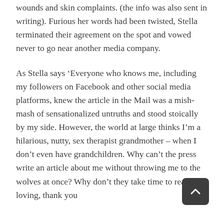wounds and skin complaints. (the info was also sent in writing). Furious her words had been twisted, Stella terminated their agreement on the spot and vowed never to go near another media company.
As Stella says ‘Everyone who knows me, including my followers on Facebook and other social media platforms, knew the article in the Mail was a mish-mash of sensationalized untruths and stood stoically by my side. However, the world at large thinks I’m a hilarious, nutty, sex therapist grandmother – when I don’t even have grandchildren. Why can’t the press write an article about me without throwing me to the wolves at once? Why don’t they take time to read the loving, thank you